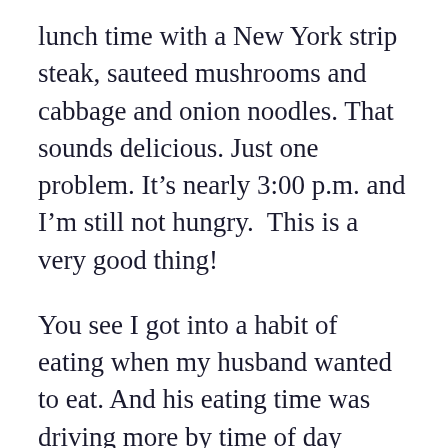lunch time with a New York strip steak, sauteed mushrooms and cabbage and onion noodles. That sounds delicious. Just one problem. It's nearly 3:00 p.m. and I'm still not hungry.  This is a very good thing!
You see I got into a habit of eating when my husband wanted to eat. And his eating time was driving more by time of day rather than actual hunger.  So, I'm eating when I'm hungry, and ONLY when